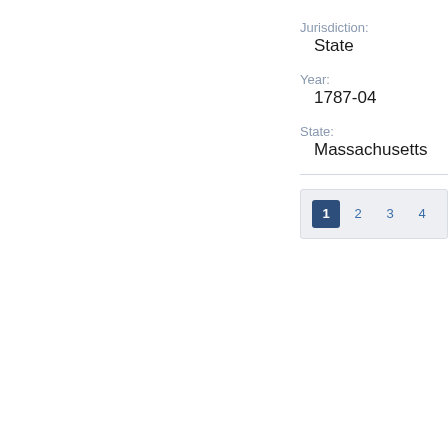Jurisdiction:
State
Year:
1787-04
State:
Massachusetts
1  2  3  4